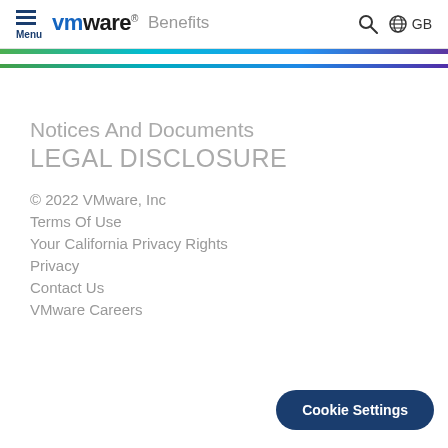Menu  vmware  Benefits  GB
Notices And Documents
LEGAL DISCLOSURE
© 2022 VMware, Inc
Terms Of Use
Your California Privacy Rights
Privacy
Contact Us
VMware Careers
Cookie Settings